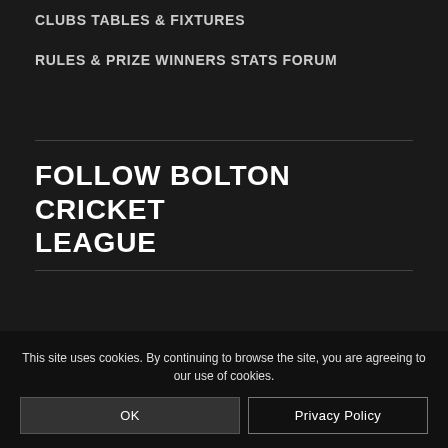CLUBS
TABLES & FIXTURES
RULES & PRIZE WINNERS
STATS
FORUM
FOLLOW BOLTON CRICKET LEAGUE
This site uses cookies. By continuing to browse the site, you are agreeing to our use of cookies.
OK
Privacy Policy